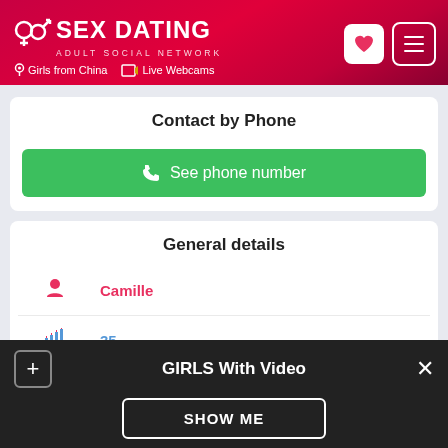SEX DATING — ADULT SOCIAL NETWORK | Girls from China | Live Webcams
Contact by Phone
See phone number
General details
| Icon | Value |
| --- | --- |
| person | Camille |
| birthday | 35 |
| ruler | HEIGHT: 159 Cm |
GIRLS With Video
SHOW ME